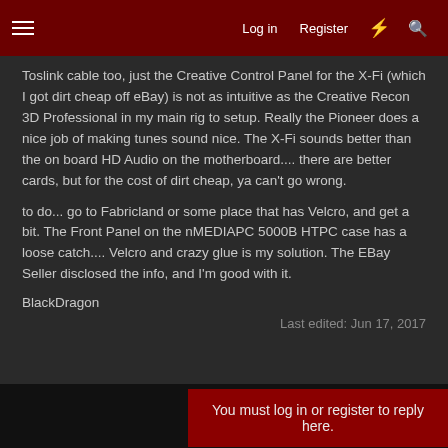Log in  Register
Toslink cable too, just the Creative Control Panel for the X-Fi (which I got dirt cheap off eBay) is not as intuitive as the Creative Recon 3D Professional in my main rig to setup. Really the Pioneer does a nice job of making tunes sound nice. The X-Fi sounds better than the on board HD Audio on the motherboard.... there are better cards, but for the cost of dirt cheap, ya can't go wrong.
to do... go to Fabricland or some place that has Velcro, and get a bit. The Front Panel on the nMEDIAPC 5000B HTPC case has a loose catch.... Velcro and crazy glue is my solution. The EBay Seller disclosed the info, and I'm good with it.
BlackDragon
Last edited: Jun 17, 2017
You must log in or register to reply here.